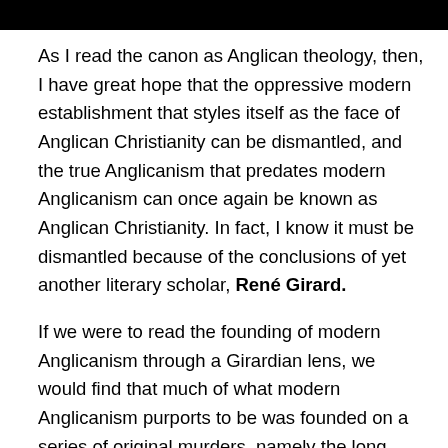[Figure (other): Black bar at top of page]
As I read the canon as Anglican theology, then, I have great hope that the oppressive modern establishment that styles itself as the face of Anglican Christianity can be dismantled, and the true Anglicanism that predates modern Anglicanism can once again be known as Anglican Christianity. In fact, I know it must be dismantled because of the conclusions of yet another literary scholar, René Girard.
If we were to read the founding of modern Anglicanism through a Girardian lens, we would find that much of what modern Anglicanism purports to be was founded on a series of original murders, namely the long consolidation of Tudor England as a culmination to the War of the Roses. But what if we take those founding myths and posit